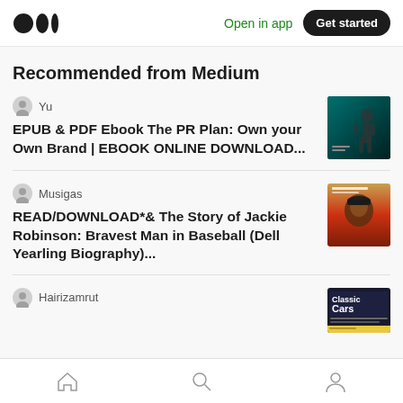Open in app  Get started
Recommended from Medium
Yu
EPUB & PDF Ebook The PR Plan: Own your Own Brand | EBOOK ONLINE DOWNLOAD...
Musigas
READ/DOWNLOAD*& The Story of Jackie Robinson: Bravest Man in Baseball (Dell Yearling Biography)...
Hairizamrut
Home  Search  Profile